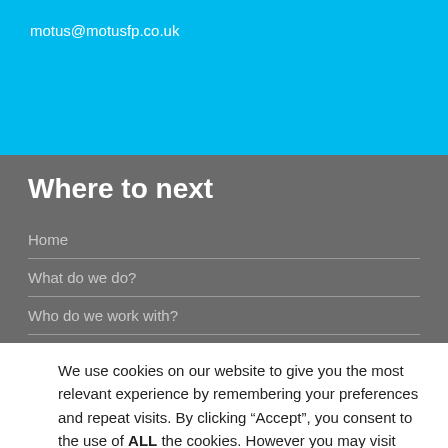motus@motusfp.co.uk
Where to next
Home
What do we do?
Who do we work with?
We use cookies on our website to give you the most relevant experience by remembering your preferences and repeat visits. By clicking “Accept”, you consent to the use of ALL the cookies. However you may visit Cookie Settings to provide a controlled consent.
Read More | Cookie settings | Accept